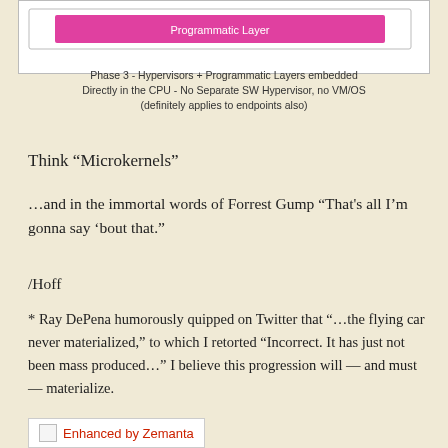[Figure (schematic): Diagram showing a pink/magenta bar labeled 'Programmatic Layer' inside a white box, representing Phase 3 of CPU hypervisor architecture.]
Phase 3 - Hypervisors + Programmatic Layers embedded Directly in the CPU - No Separate SW Hypervisor, no VM/OS (definitely applies to endpoints also)
Think “Microkernels”
…and in the immortal words of Forrest Gump “That's all I’m gonna say 'bout that.”
/Hoff
* Ray DePena humorously quipped on Twitter that “…the flying car never materialized,” to which I retorted “Incorrect. It has just not been mass produced…” I believe this progression will — and must — materialize.
[Figure (logo): Enhanced by Zemanta badge with broken image icon and red link text]